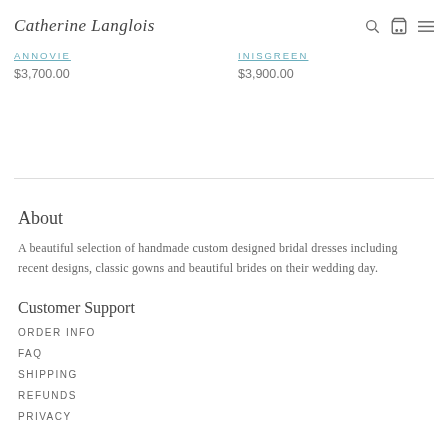Catherine Langlois
ANNOVIE
$3,700.00
INISGREEN
$3,900.00
About
A beautiful selection of handmade custom designed bridal dresses including recent designs, classic gowns and beautiful brides on their wedding day.
Customer Support
ORDER INFO
FAQ
SHIPPING
REFUNDS
PRIVACY